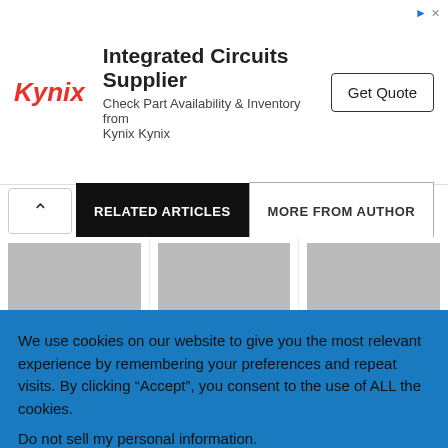[Figure (screenshot): Kynix advertisement banner with logo, 'Integrated Circuits Supplier' heading, subtitle text, and 'Get Quote' button]
RELATED ARTICLES | MORE FROM AUTHOR
[Figure (screenshot): Three article card thumbnails with 'Culture' tags. Titles: '7 Tips For Entertaining In 2022', 'What are Some of the Most Popular Race...', 'Upgrade Your Life by Learning a New...']
We use cookies on our website to give you the most relevant experience by remembering your preferences and repeat visits. By clicking “Accept”, you consent to the use of ALL the cookies.
Do not sell my personal information.
Cookie Settings   Accept